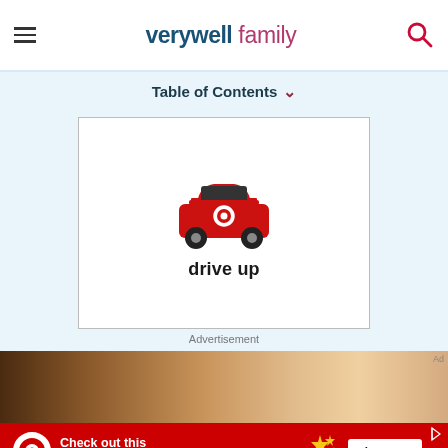verywell family
Table of Contents
[Figure (logo): Target Drive Up advertisement showing a red car icon with Target bullseye logo and text 'drive up']
Advertisement
[Figure (photo): Close-up photo of a baby or child face, blurred background]
[Figure (infographic): Target advertisement banner: 'Check out this week's baby deals.' with shop now button and Target logo]